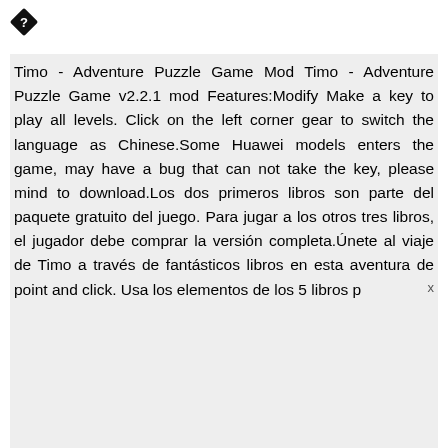[Figure (other): Diamond/question mark icon in top left corner]
Timo - Adventure Puzzle Game Mod Timo - Adventure Puzzle Game v2.2.1 mod Features:Modify Make a key to play all levels. Click on the left corner gear to switch the language as Chinese.Some Huawei models enters the game, may have a bug that can not take the key, please mind to download.Los dos primeros libros son parte del paquete gratuito del juego. Para jugar a los otros tres libros, el jugador debe comprar la versión completa.Únete al viaje de Timo a través de fantásticos libros en esta aventura de point and click. Usa los elementos de los 5 libros p